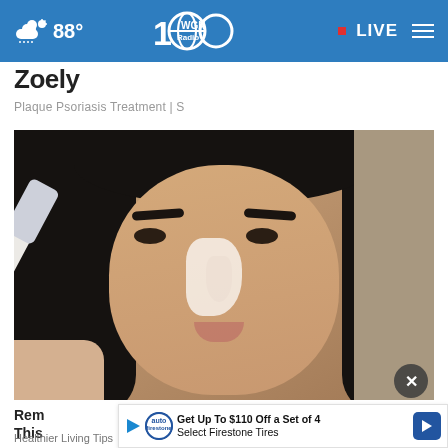88° WGN Radio • LIVE
Zoely
Plaque Psoriasis Treatment | S
[Figure (photo): Woman applying white paste to her nose with a toothbrush, close-up face shot]
Rem... Make & Skin Transform... D... This...
[Figure (infographic): Advertisement banner: Get Up To $110 Off a Set of 4 Select Firestone Tires with Firestone logo and arrow]
Healthier Living Tips